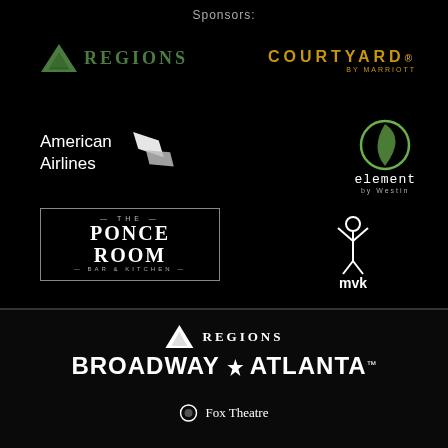Sponsors:
[Figure (logo): Regions Bank logo with green triangle and REGIONS text]
[Figure (logo): Courtyard by Marriott logo in gold]
[Figure (logo): American Airlines logo with white text and wing graphic]
[Figure (logo): Element by Westin logo with circular leaf emblem]
[Figure (logo): The Ponce Room Bar & Kitchen logo in white bordered box]
[Figure (logo): MVK MentoringKidz Atlanta logo]
[Figure (logo): Regions Broadway in Atlanta logo with white triangle and text]
Fox Theatre